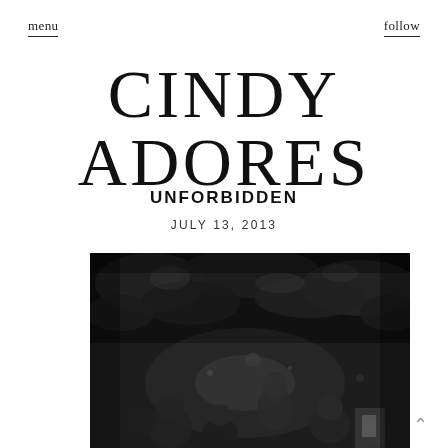menu    follow
CINDY ADORES
UNFORBIDDEN
JULY 13, 2013
[Figure (photo): Black and white photograph of a crowd scene with a person with arm raised, dark foliage in background, moody atmospheric lighting]